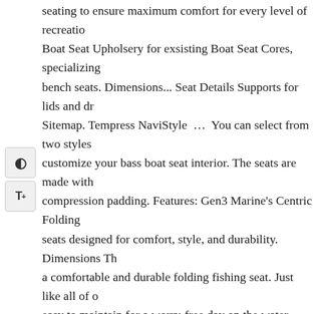[Figure (other): Two UI accessibility buttons: a contrast toggle icon (half-filled circle) and a text-size increase button (T with plus), displayed on the left side of the page.]
seating to ensure maximum comfort for every level of recreation. Boat Seat Upholsery for exsisting Boat Seat Cores, specializing bench seats. Dimensions... Seat Details Supports for lids and dr Sitemap. Tempress NaviStyle … You can select from two styles customize your bass boat seat interior. The seats are made with compression padding. Features: Gen3 Marine's Centric Folding seats designed for comfort, style, and durability. Dimensions Th a comfortable and durable folding fishing seat. Just like all of o easy to maintain for a worry-free day on the water. Bass boat se fabric that blends well with the design scheme on a casual or sp seats and replacement boats seats since 1968, and now offers a grade custom boat seating to fit your pontoon boat, runabout, cr boat or power boat. Bass Boat Seat Interior w/ 61" Bench Racin boat. Read more. Note: Fishing seat pedestals are not included. ProAngler, Blast Off Pro, Big Bass, Torsa, Commander, Tracke lines. $401.99 $ 401. They carry seats from leading brands such Gen3Marine that will keep you enjoying what you love to do al $129.99 Sold Out 52" Compact Bass Boat Seats. Constructed w frame and heavy duty 28 oz. 4.6 out of 5 stars 30. Order online